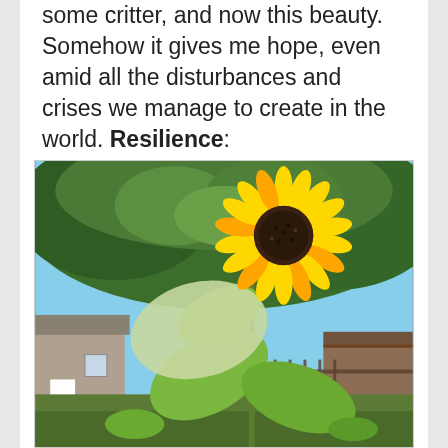some critter, and now this beauty. Somehow it gives me hope, even amid all the disturbances and crises we manage to create in the world. Resilience:
[Figure (photo): A tall sunflower with a large yellow bloom and broad green leaves, photographed in a backyard garden with trees, a house, and a fence visible in the background.]